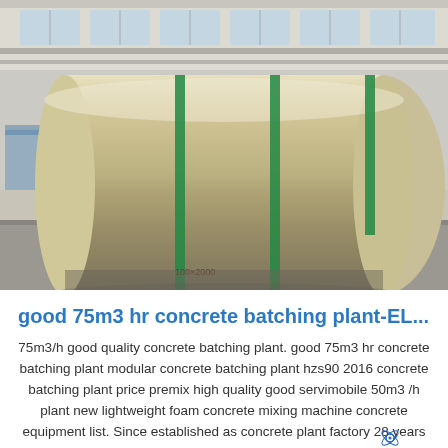[Figure (photo): Large cylindrical metal drum/roller wrapped with green straps, resting on a wooden pallet on a warehouse floor. The cylinder is silver/metallic in color. Industrial warehouse setting with large windows visible in the background.]
good 75m3 hr concrete batching plant-EL...
75m3/h good quality concrete batching plant. good 75m3 hr concrete batching plant modular concrete batching plant hzs90 2016 concrete batching plant price premix high quality good servimobile 50m3 /h plant new lightweight foam concrete mixing machine concrete equipment list. Since established as concrete plant factory 28 years ago Haomei ...